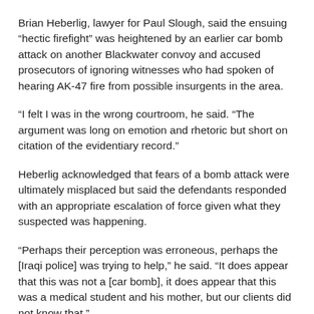Brian Heberlig, lawyer for Paul Slough, said the ensuing “hectic firefight” was heightened by an earlier car bomb attack on another Blackwater convoy and accused prosecutors of ignoring witnesses who had spoken of hearing AK-47 fire from possible insurgents in the area.
“I felt I was in the wrong courtroom, he said. “The argument was long on emotion and rhetoric but short on citation of the evidentiary record.”
Heberlig acknowledged that fears of a bomb attack were ultimately misplaced but said the defendants responded with an appropriate escalation of force given what they suspected was happening.
“Perhaps their perception was erroneous, perhaps the [Iraqi police] was trying to help,” he said. “It does appear that this was not a [car bomb], it does appear that this was a medical student and his mother, but our clients did not know that.”
However he ridiculed the prosecution’s suggestion that AK-